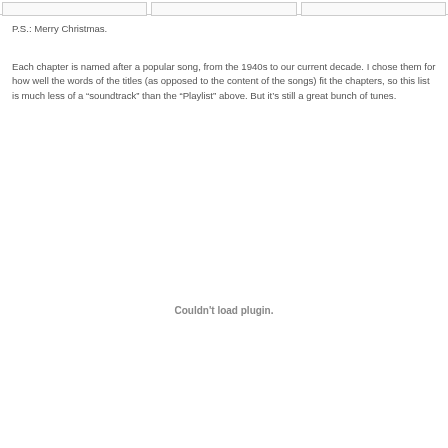P.S.: Merry Christmas.
Each chapter is named after a popular song, from the 1940s to our current decade. I chose them for how well the words of the titles (as opposed to the content of the songs) fit the chapters, so this list is much less of a “soundtrack” than the “Playlist” above. But it’s still a great bunch of tunes.
[Figure (other): Embedded plugin area showing 'Couldn't load plugin.' message]